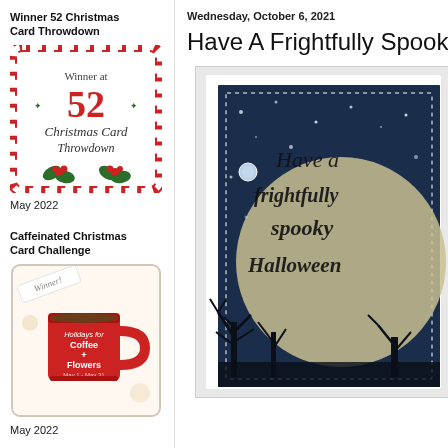Winner 52 Christmas Card Throwdown
[Figure (illustration): Winner badge for 52 Christmas Card Throwdown with candy cane border and holly decoration]
May 2022
Caffeinated Christmas Card Challenge
[Figure (illustration): Winner badge for Caffeinated Christmas Card Challenge showing a red coffee mug with text Holidays for Coffee + Flowers]
May 2022
Wednesday, October 6, 2021
Have A Frightfully Spook
[Figure (photo): Halloween card showing text 'Have a frightfully spooky Halloween' on dark blue background with moon and bare tree silhouettes]